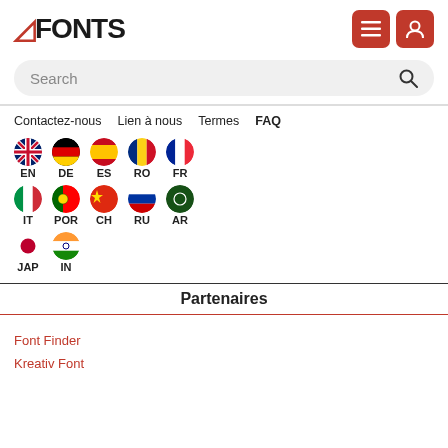FONTS
Search
Contactez-nous
Lien à nous
Termes
FAQ
[Figure (infographic): Language selector with flags: EN (UK), DE (Germany), ES (Spain), RO (Romania), FR (France), IT (Italy), POR (Portugal), CH (China), RU (Russia), AR (Saudi Arabia), JAP (Japan), IN (India)]
Partenaires
Font Finder
Kreativ Font